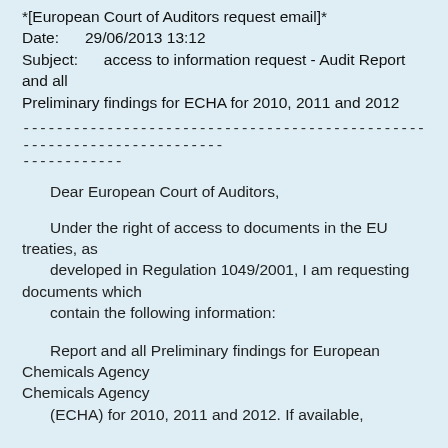*[European Court of Auditors request email]*
Date:      29/06/2013 13:12
Subject:       access to information request - Audit Report and all
Preliminary findings for ECHA for 2010, 2011 and 2012
------------------------------------------------------------------------
------------
Dear European Court of Auditors,
Under the right of access to documents in the EU treaties, as
    developed in Regulation 1049/2001, I am requesting documents which
    contain the following information:
Report and all Preliminary findings for European Chemicals Agency
    (ECHA) for 2010, 2011 and 2012. If available,